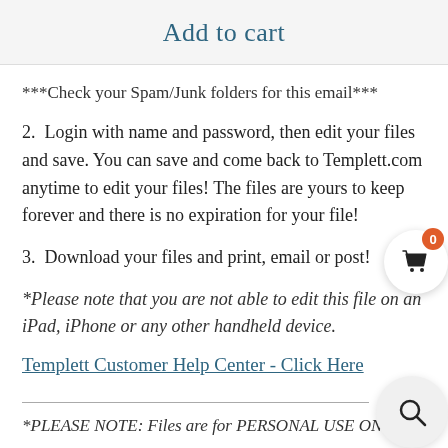Add to cart
***Check your Spam/Junk folders for this email***
2. Login with name and password, then edit your files and save. You can save and come back to Templett.com anytime to edit your files! The files are yours to keep forever and there is no expiration for your file!
3. Download your files and print, email or post!
*Please note that you are not able to edit this file on an iPad, iPhone or any other handheld device.
Templett Customer Help Center - Click Here
*PLEASE NOTE: Files are for PERSONAL USE ON...